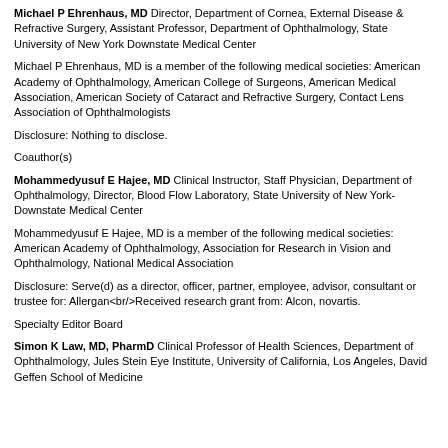Michael P Ehrenhaus, MD Director, Department of Cornea, External Disease & Refractive Surgery, Assistant Professor, Department of Ophthalmology, State University of New York Downstate Medical Center
Michael P Ehrenhaus, MD is a member of the following medical societies: American Academy of Ophthalmology, American College of Surgeons, American Medical Association, American Society of Cataract and Refractive Surgery, Contact Lens Association of Ophthalmologists
Disclosure: Nothing to disclose.
Coauthor(s)
Mohammedyusuf E Hajee, MD Clinical Instructor, Staff Physician, Department of Ophthalmology, Director, Blood Flow Laboratory, State University of New York-Downstate Medical Center
Mohammedyusuf E Hajee, MD is a member of the following medical societies: American Academy of Ophthalmology, Association for Research in Vision and Ophthalmology, National Medical Association
Disclosure: Serve(d) as a director, officer, partner, employee, advisor, consultant or trustee for: Allergan<br/>Received research grant from: Alcon, novartis.
Specialty Editor Board
Simon K Law, MD, PharmD Clinical Professor of Health Sciences, Department of Ophthalmology, Jules Stein Eye Institute, University of California, Los Angeles, David Geffen School of Medicine